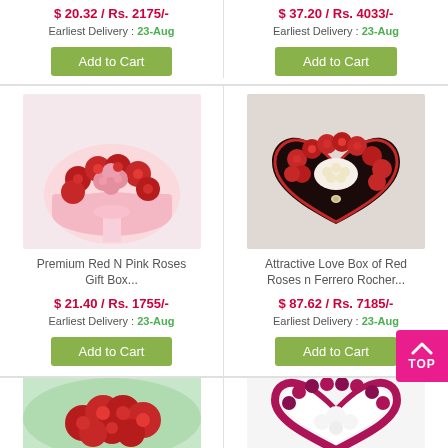$ 20.32 / Rs. 2175/-
Earliest Delivery : 23-Aug
Add to Cart
$ 37.20 / Rs. 4033/-
Earliest Delivery : 23-Aug
Add to Cart
[Figure (photo): Premium Red N Pink Roses Gift Box - round pink box with red and pink roses]
Premium Red N Pink Roses Gift Box...
$ 21.40 / Rs. 1755/-
Earliest Delivery : 23-Aug
Add to Cart
[Figure (photo): Attractive Love Box of Red Roses n Ferrero Rocher - heart shaped box with red roses and chocolates]
Attractive Love Box of Red Roses n Ferrero Rocher...
$ 87.62 / Rs. 7185/-
Earliest Delivery : 23-Aug
Add to Cart
[Figure (photo): Red roses bouquet]
[Figure (photo): Heart shaped floral arrangement with white and pink flowers]